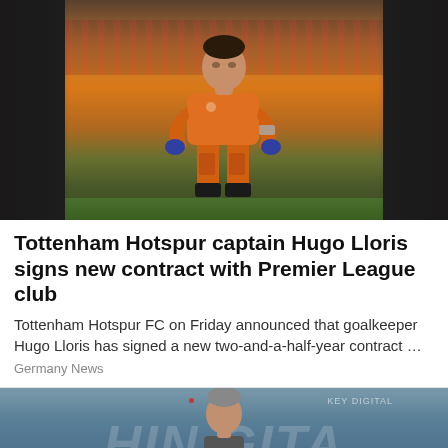[Figure (photo): Hugo Lloris, Tottenham Hotspur goalkeeper, in orange kit crouching on the pitch during a match]
Tottenham Hotspur captain Hugo Lloris signs new contract with Premier League club
Tottenham Hotspur FC on Friday announced that goalkeeper Hugo Lloris has signed a new two-and-a-half-year contract …
Germany News
[Figure (photo): Partial photo of a person in front of a digital display background with text visible]